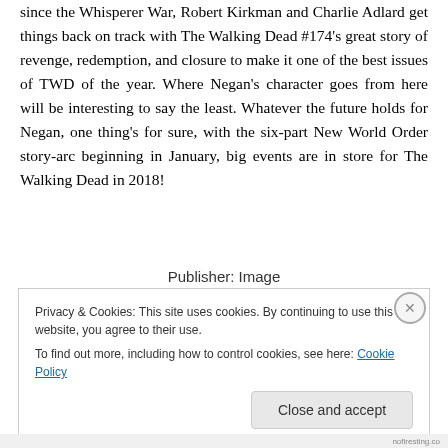since the Whisperer War, Robert Kirkman and Charlie Adlard get things back on track with The Walking Dead #174’s great story of revenge, redemption, and closure to make it one of the best issues of TWD of the year. Where Negan’s character goes from here will be interesting to say the least. Whatever the future holds for Negan, one thing’s for sure, with the six-part New World Order story-arc beginning in January, big events are in store for The Walking Dead in 2018!
Publisher: Image
Privacy & Cookies: This site uses cookies. By continuing to use this website, you agree to their use. To find out more, including how to control cookies, see here: Cookie Policy
Close and accept